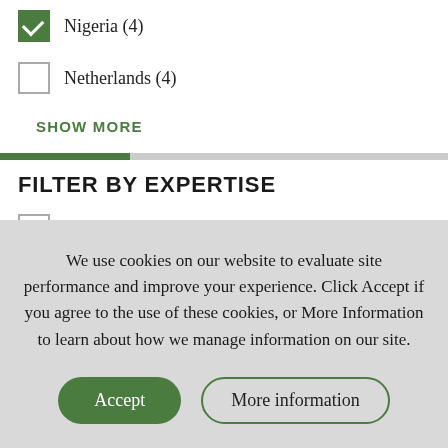Nigeria (4) [checked]
Netherlands (4)
SHOW MORE
FILTER BY EXPERTISE
Agricultural Productivity (13)
Climate and Natural Resources (9)
We use cookies on our website to evaluate site performance and improve your experience. Click Accept if you agree to the use of these cookies, or More Information to learn about how we manage information on our site.